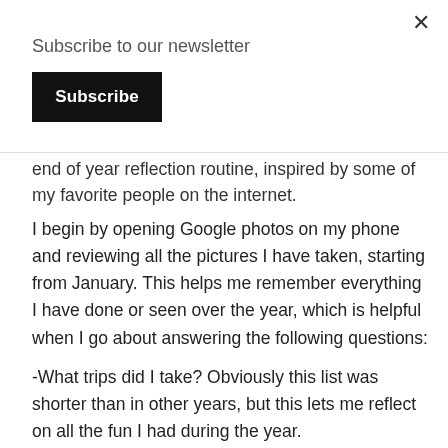Subscribe to our newsletter
Subscribe
end of year reflection routine, inspired by some of my favorite people on the internet.
I begin by opening Google photos on my phone and reviewing all the pictures I have taken, starting from January. This helps me remember everything I have done or seen over the year, which is helpful when I go about answering the following questions:
-What trips did I take? Obviously this list was shorter than in other years, but this lets me reflect on all the fun I had during the year.